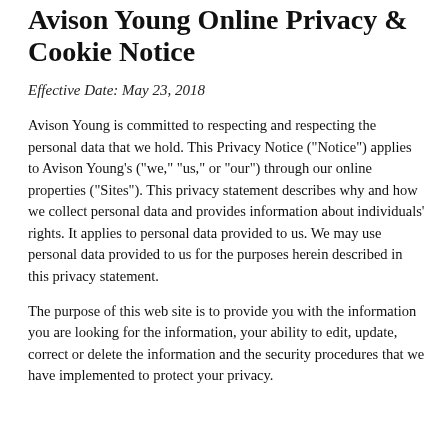Avison Young Online Privacy & Cookie Notice
Effective Date: May 23, 2018
Avison Young is committed to respecting and respecting the personal data that we hold. This Privacy Notice ("Notice") applies to Avison Young's ("we," "us," or "our") through our online properties ("Sites"). This privacy statement describes why and how we collect personal data and provides information about individuals' rights. It applies to personal data provided to us. We may use personal data provided to us for the purposes herein described in this privacy statement.
The purpose of this web site is to provide you with the information you are looking for the information, your ability to edit, update, correct or delete the information and the security procedures that we have implemented to protect your privacy.